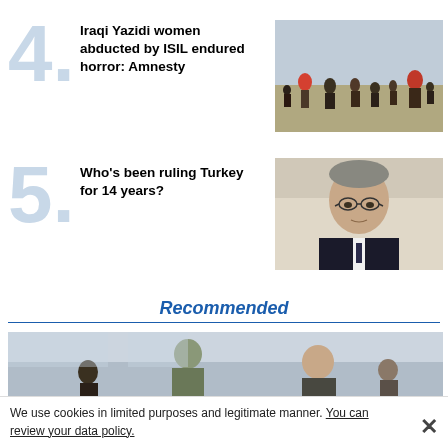Iraqi Yazidi women abducted by ISIL endured horror: Amnesty
[Figure (photo): People walking in a field, refugees or displaced persons in dusty landscape]
Who's been ruling Turkey for 14 years?
[Figure (photo): Portrait of an older man with glasses in a suit and tie]
Recommended
[Figure (photo): People in military and civilian clothing at what appears to be an outdoor event or checkpoint]
We use cookies in limited purposes and legitimate manner. You can review your data policy.